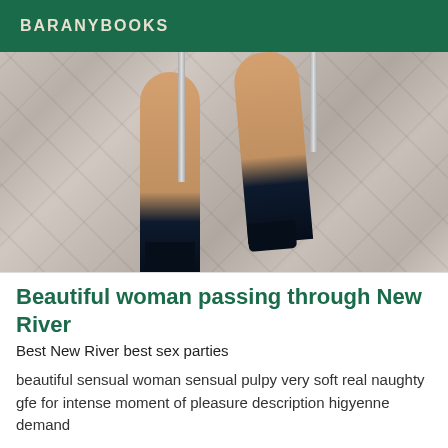BARANYBOOKS
[Figure (photo): Photo of a woman's legs in high heels on a stone pavement, viewed from below knees down]
Beautiful woman passing through New River
Best New River best sex parties
beautiful sensual woman sensual pulpy very soft real naughty gfe for intense moment of pleasure description higyenne demand
[Figure (photo): Partial view of a beige/cream colored background, bottom of page]